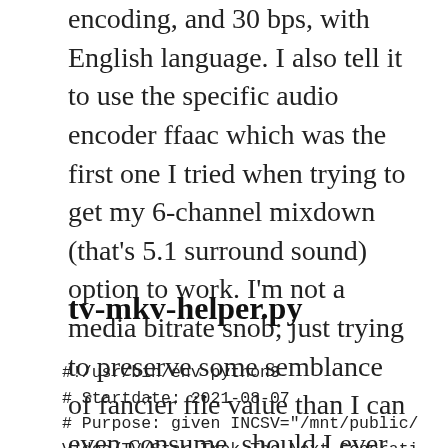encoding, and 30 bps, with English language. I also tell it to use the specific audio encoder ffaac which was the first one I tried when trying to get my 6-channel mixdown (that’s 5.1 surround sound) option to work. I’m not a media bitrate snob; just trying to preserve some semblance of fancier file value than I can even consume, should I ever upgrade my viewing equipment in the next 40 years.
tv-mkv-helper.py
#!/usr/bin/env python3
# Startdate: 2021-08-07
# Purpose: given INCSV="/mnt/public/Video/TV/Star Trek The Next Generation 1987)/STTNG.csv"